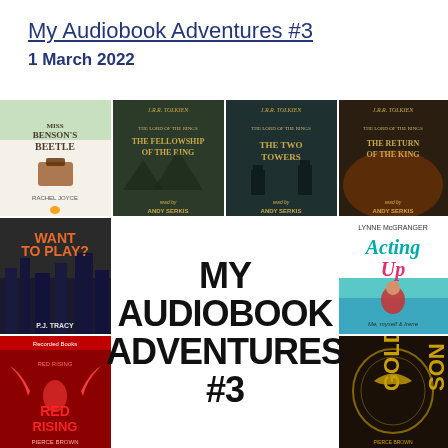My Audiobook Adventures #3
1 March 2022
[Figure (illustration): Grid of audiobook covers: Miss Benson's Beetle by Rachel Joyce; The Lord of the Rings: The Fellowship of the Ring read by Andy Serkis; The Lord of the Rings: The Two Towers read by Andy Serkis; The Lord of the Rings: The Return of the King read by Andy Serkis; Want to Play? by P.J. Tracy; Red Rising by Pierce Brown (Recorded Books); Acting Up by Lynne McGranger; Golden Son by Pierce Brown. Center shows large bold text: MY AUDIOBOOK ADVENTURES #3]